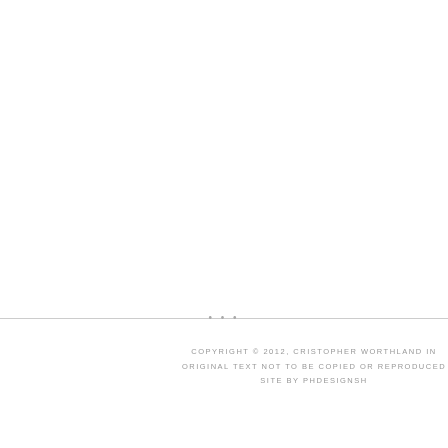COPYRIGHT © 2012, CRISTOPHER WORTHLAND IN... ORIGINAL TEXT NOT TO BE COPIED OR REPRODUCED... SITE BY PHDESIGNSH...